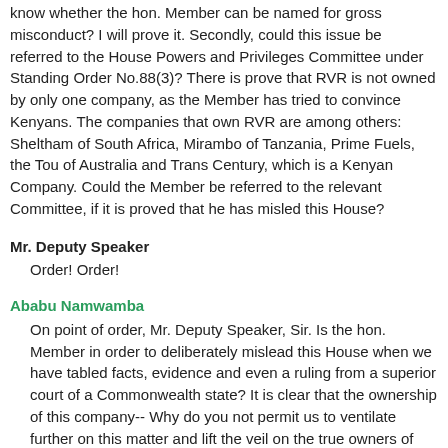know whether the hon. Member can be named for gross misconduct? I will prove it. Secondly, could this issue be referred to the House Powers and Privileges Committee under Standing Order No.88(3)? There is prove that RVR is not owned by only one company, as the Member has tried to convince Kenyans. The companies that own RVR are among others: Sheltham of South Africa, Mirambo of Tanzania, Prime Fuels, the Tou of Australia and Trans Century, which is a Kenyan Company. Could the Member be referred to the relevant Committee, if it is proved that he has misled this House?
Mr. Deputy Speaker
Order! Order!
Ababu Namwamba
On point of order, Mr. Deputy Speaker, Sir. Is the hon. Member in order to deliberately mislead this House when we have tabled facts, evidence and even a ruling from a superior court of a Commonwealth state? It is clear that the ownership of this company-- Why do you not permit us to ventilate further on this matter and lift the veil on the true owners of this company? In fact, I have perused the answer presented by the Minister. This answer does not even start to answer the Question. Would I be